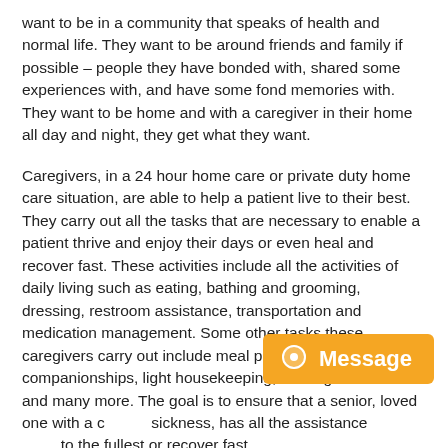want to be in a community that speaks of health and normal life. They want to be around friends and family if possible – people they have bonded with, shared some experiences with, and have some fond memories with. They want to be home and with a caregiver in their home all day and night, they get what they want.
Caregivers, in a 24 hour home care or private duty home care situation, are able to help a patient live to their best. They carry out all the tasks that are necessary to enable a patient thrive and enjoy their days or even heal and recover fast. These activities include all the activities of daily living such as eating, bathing and grooming, dressing, restroom assistance, transportation and medication management. Some other tasks these caregivers carry out include meal preparation, companionships, light housekeeping, running of errands and many more. The goal is to ensure that a senior, loved one with a chronic sickness, has all the assistance they need to live to the fullest or recover fast.
[Figure (other): Orange Message chat button widget in bottom-right corner]